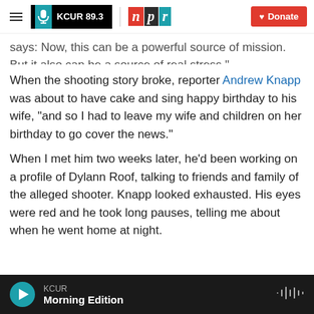KCUR 89.3 | npr | Donate
says: Now, this can be a powerful source of mission. But it also can be a source of real stress."
When the shooting story broke, reporter Andrew Knapp was about to have cake and sing happy birthday to his wife, "and so I had to leave my wife and children on her birthday to go cover the news."
When I met him two weeks later, he'd been working on a profile of Dylann Roof, talking to friends and family of the alleged shooter. Knapp looked exhausted. His eyes were red and he took long pauses, telling me about when he went home at night.
KCUR Morning Edition